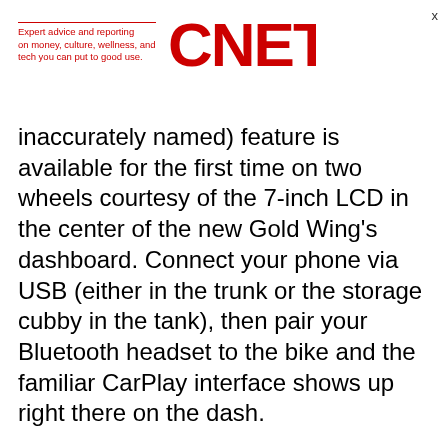[Figure (logo): CNET logo with red tagline text: Expert advice and reporting on money, culture, wellness, and tech you can put to good use. and large red CNET wordmark]
inaccurately named) feature is available for the first time on two wheels courtesy of the 7-inch LCD in the center of the new Gold Wing's dashboard. Connect your phone via USB (either in the trunk or the storage cubby in the tank), then pair your Bluetooth headset to the bike and the familiar CarPlay interface shows up right there on the dash.
Yes, you do have to connect a Bluetooth headset, a requirement mandated by Apple, one that is a bit frustrating since most CarPlay interactions don't require voice. However, Apple requires a microphone on